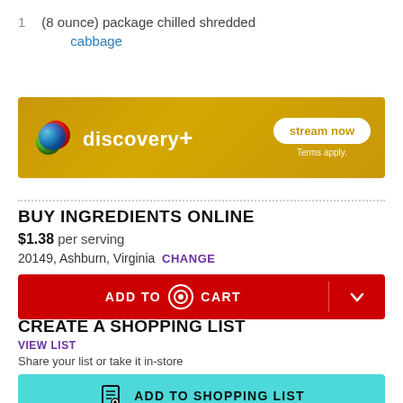1  (8 ounce) package chilled shredded cabbage
[Figure (other): Discovery+ advertisement banner with golden background, globe logo, 'discovery+' text, and 'stream now' button with 'Terms apply.' text]
BUY INGREDIENTS ONLINE
$1.38 per serving
20149, Ashburn, Virginia  CHANGE
[Figure (other): Red 'ADD TO CART' button with Target bullseye logo and dropdown chevron]
CREATE A SHOPPING LIST
VIEW LIST
Share your list or take it in-store
[Figure (other): Teal 'ADD TO SHOPPING LIST' button with list icon]